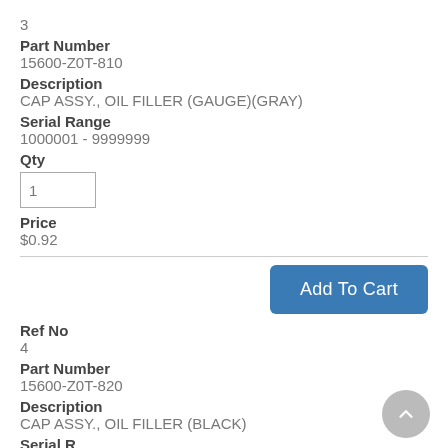3
Part Number
15600-Z0T-810
Description
CAP ASSY., OIL FILLER (GAUGE)(GRAY)
Serial Range
1000001 - 9999999
Qty
1
Price
$0.92
Add To Cart
Ref No
4
Part Number
15600-Z0T-820
Description
CAP ASSY., OIL FILLER (BLACK)
Serial R